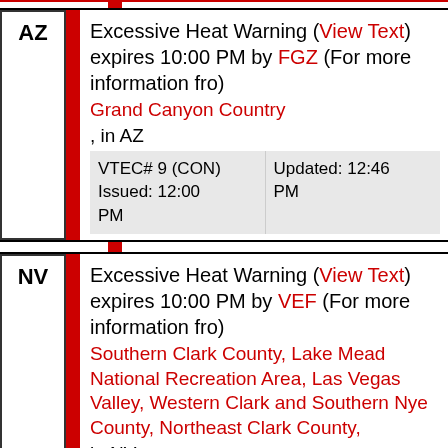AZ Excessive Heat Warning (View Text) expires 10:00 PM by FGZ (For more information fro) Grand Canyon Country, in AZ VTEC# 9 (CON) Issued: 12:00 PM Updated: 12:46 PM
NV Excessive Heat Warning (View Text) expires 10:00 PM by VEF (For more information fro) Southern Clark County, Lake Mead National Recreation Area, Las Vegas Valley, Western Clark and Southern Nye County, Northeast Clark County, in NV VTEC# 3 (CON) Issued: 12:00 PM Updated: 02:48 PM
AZ Excessive Heat Warning (View Text) expires 10:00 PM by VEF (For more information fro)